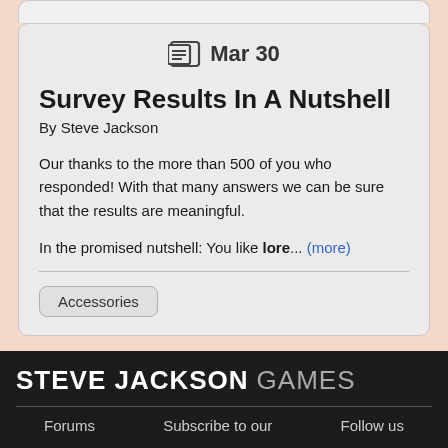Mar 30
Survey Results In A Nutshell
By Steve Jackson
Our thanks to the more than 500 of you who responded! With that many answers we can be sure that the results are meaningful.
In the promised nutshell: You like lore... (more)
Accessories
STEVE JACKSON GAMES
Forums  Subscribe to our  Follow us